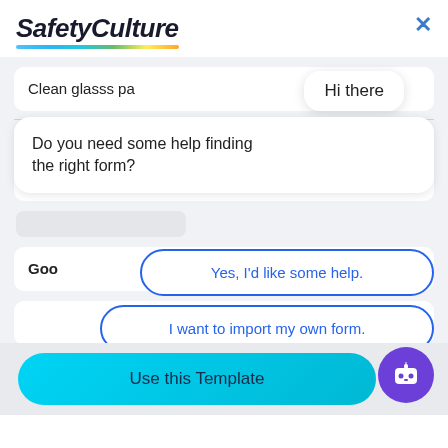[Figure (screenshot): SafetyCulture app screenshot showing a chatbot overlay with options: 'Hi there', 'Do you need some help finding the right form?', 'Yes, I'd like some help.', 'I want to import my own form.', 'No, I'm good. Thanks!' and a 'Use this Template' button at the bottom.]
SafetyCulture
Hi there
Do you need some help finding the right form?
Yes, I'd like some help.
I want to import my own form.
No, I'm good. Thanks!
Very Good
Use this Template